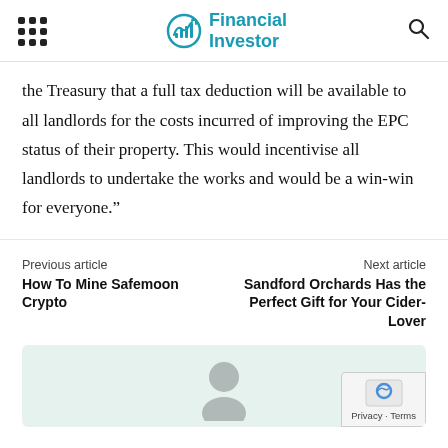Financial Investor
the Treasury that a full tax deduction will be available to all landlords for the costs incurred of improving the EPC status of their property. This would incentivise all landlords to undertake the works and would be a win-win for everyone.”
Previous article
How To Mine Safemoon Crypto
Next article
Sandford Orchards Has the Perfect Gift for Your Cider-Lover
[Figure (illustration): Author avatar placeholder with a grey silhouette icon on a light mint green background, with a reCAPTCHA Privacy - Terms overlay in the bottom right corner.]